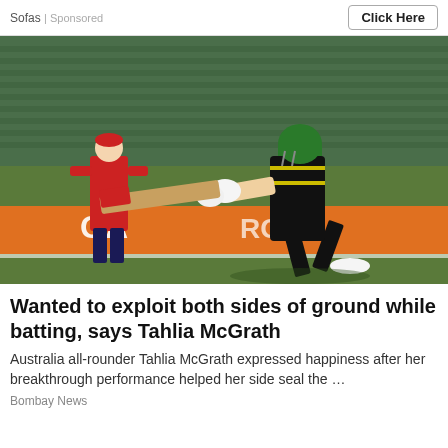Sofas | Sponsored   Click Here
[Figure (photo): Cricket player in black and yellow Australian uniform batting during a match, leaning forward to play a shot; another player in red uniform stands in the background; orange advertising hoarding visible with partial text 'GA...']
Wanted to exploit both sides of ground while batting, says Tahlia McGrath
Australia all-rounder Tahlia McGrath expressed happiness after her breakthrough performance helped her side seal the …
Bombay News